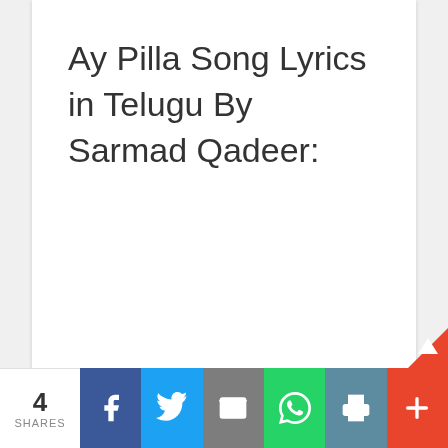Ay Pilla Song Lyrics in Telugu By Sarmad Qadeer:
4 SHARES | Facebook | Twitter | Email | WhatsApp | Print | Plus